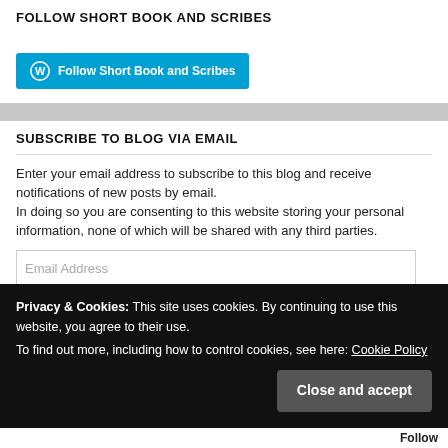FOLLOW SHORT BOOK AND SCRIBES
[Figure (screenshot): Blue WordPress follow button with WP logo icon and text 'Follow Short Book and Scribes']
SUBSCRIBE TO BLOG VIA EMAIL
Enter your email address to subscribe to this blog and receive notifications of new posts by email. In doing so you are consenting to this website storing your personal information, none of which will be shared with any third parties.
Email Address
Privacy & Cookies: This site uses cookies. By continuing to use this website, you agree to their use. To find out more, including how to control cookies, see here: Cookie Policy
Close and accept
Follow